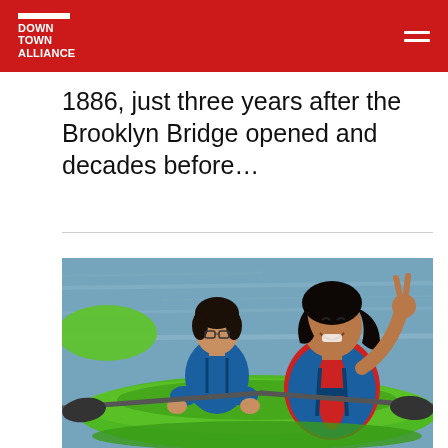Downtown Alliance
1886, just three years after the Brooklyn Bridge opened and decades before…
[Figure (photo): Two young women in life jackets sitting in a green inflatable kayak on the water. The woman in front is smiling and making a peace sign with her hand. The woman behind her is looking down. Green kayak paddles are visible.]